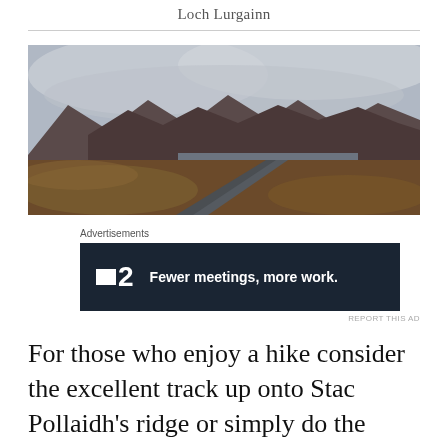Loch Lurgainn
[Figure (photo): Panoramic landscape photo of a highland road leading toward mountains with low clouds, moorland in orange-brown tones, and a loch visible in the distance]
Advertisements
[Figure (other): Advertisement banner with dark background showing a logo (square + '2') and text 'Fewer meetings, more work.']
REPORT THIS AD
For those who enjoy a hike consider the excellent track up onto Stac Pollaidh's ridge or simply do the circular route which tracks half way up the mountain and gives